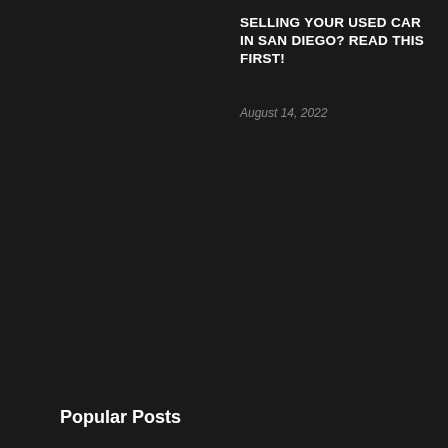SELLING YOUR USED CAR IN SAN DIEGO? READ THIS FIRST!
August 14, 2022
Popular Posts